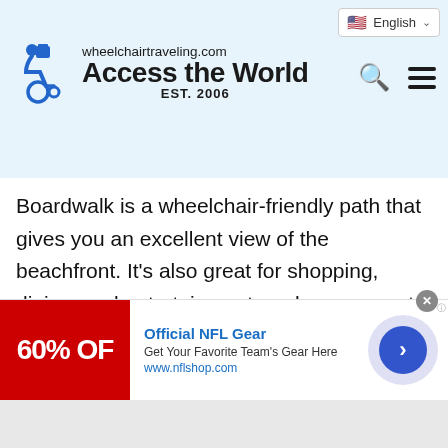wheelchairtraveling.com Access the World EST. 2006
Boardwalk is a wheelchair-friendly path that gives you an excellent view of the beachfront. It’s also great for shopping, dining, and entertainment, and you can get to the beachfront from the walkway on every street from 2nd to 40th. Free all-terrain wheelchairs are available along the boardwalk on a first-come, first-reserved basis. You’ll find them on 24th and 17th street in a storage container. Guests with disabilities will also appreciate the wheelchair ramps, accessible parking lots (up to four
[Figure (screenshot): Advertisement banner for Official NFL Gear showing 60% OFF with red background and NFL shop URL]